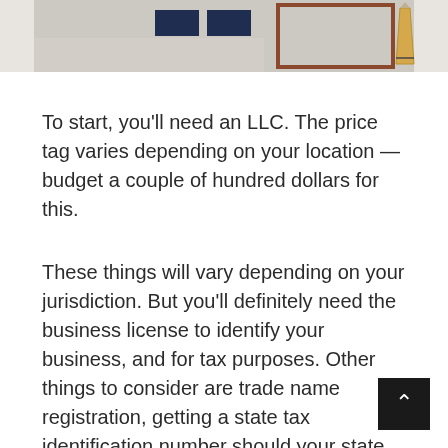[Figure (photo): Partial photo showing the bottom portion of a document/desk scene with dark blue rectangular blocks on the left and a brown-bordered frame and pencil on the right, on a light gray background.]
To start, you'll need an LLC. The price tag varies depending on your location — budget a couple of hundred dollars for this.
These things will vary depending on your jurisdiction. But you'll definitely need the business license to identify your business, and for tax purposes. Other things to consider are trade name registration, getting a state tax identification number should your state require it, and zoning